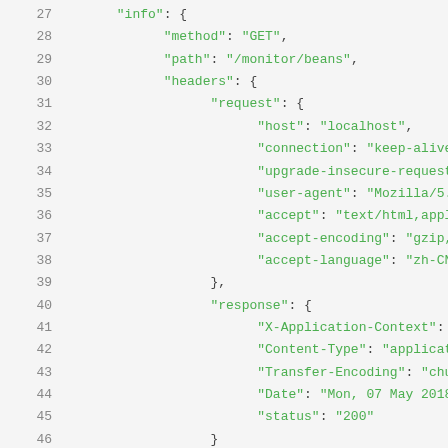Code listing showing JSON structure lines 27-47, including info, method, path, headers, request, response fields